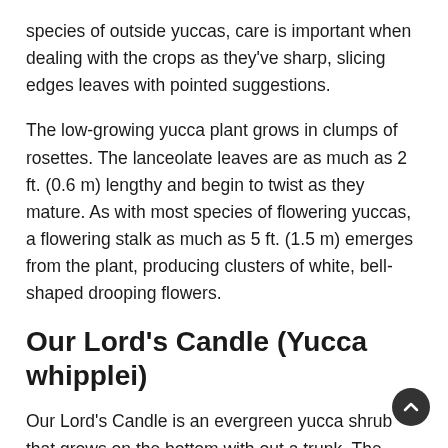species of outside yuccas, care is important when dealing with the crops as they’ve sharp, slicing edges leaves with pointed suggestions.
The low-growing yucca plant grows in clumps of rosettes. The lanceolate leaves are as much as 2 ft. (0.6 m) lengthy and begin to twist as they mature. As with most species of flowering yuccas, a flowering stalk as much as 5 ft. (1.5 m) emerges from the plant, producing clusters of white, bell-shaped drooping flowers.
Our Lord’s Candle (Yucca whipplei)
Our Lord’s Candle is an evergreen yucca shrub that grows on the bottom with out a trunk. The bluish leaves are inflexible and sharp, with piercing serrated edges. The stiff blades develop as much as 3 ft. (1 m) lengthy. The putting